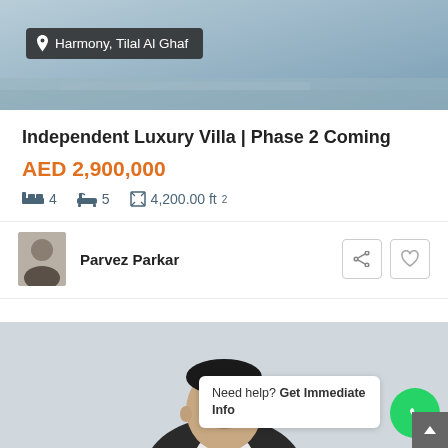[Figure (photo): Aerial/outdoor photo of property location with blue-grey tones]
Harmony, Tilal Al Ghaf
Independent Luxury Villa | Phase 2 Coming
AED 2,900,000
4  5  4,200.00 ft²
Parvez Parkar
[Figure (photo): Photo of agent Parvez Parkar in a suit]
Need help? Get Immediate Info